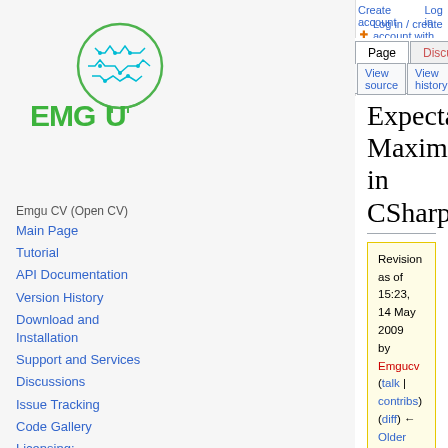Create account  Log in  Log in / create account with OpenID
Page  Discussion  View source  View history  More  Search Emgu CV
[Figure (logo): Emgu CV logo - green circuit brain head with EMGU text]
Emgu CV (Open CV)
Main Page
Tutorial
API Documentation
Version History
Download and Installation
Support and Services
Discussions
Issue Tracking
Code Gallery
Licensing:
Source Code (GitHub)
Download Open Source
Expectation-Maximization in CSharp
Revision as of 15:23, 14 May 2009 by Emgucv (talk | contribs) (diff) ← Older revision | Latest revision (diff) | Newer revision → (diff)
This example requires Emgu CV 1.5.0.0
What is an Expectaion-Maximization Classifier